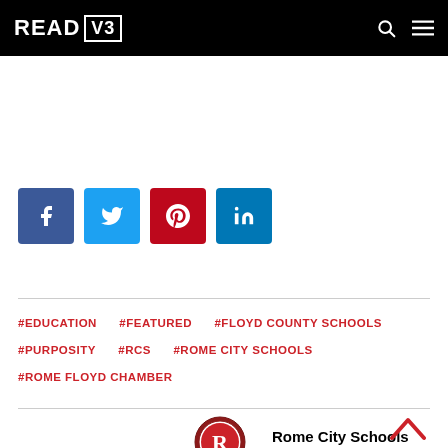READ V3
[Figure (logo): Social share buttons: Facebook, Twitter, Pinterest, LinkedIn]
#EDUCATION  #FEATURED  #FLOYD COUNTY SCHOOLS  #PURPOSITY  #RCS  #ROME CITY SCHOOLS  #ROME FLOYD CHAMBER
[Figure (logo): Rome City Schools circular logo with R emblem]
Rome City Schools